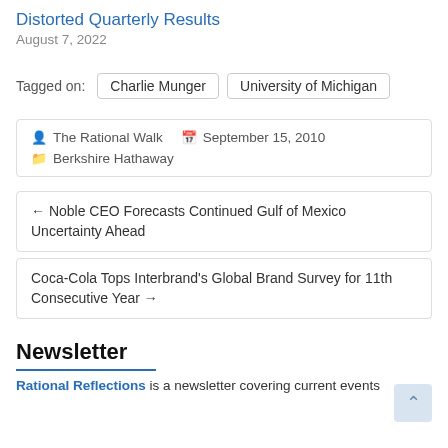Distorted Quarterly Results
August 7, 2022
Tagged on: Charlie Munger  University of Michigan
The Rational Walk  September 15, 2010  Berkshire Hathaway
← Noble CEO Forecasts Continued Gulf of Mexico Uncertainty Ahead
Coca-Cola Tops Interbrand's Global Brand Survey for 11th Consecutive Year →
Newsletter
Rational Reflections is a newsletter covering current events